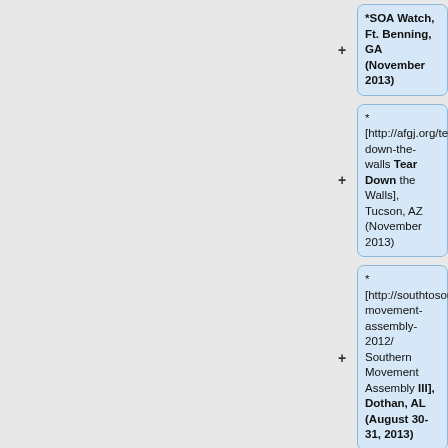*SOA Watch, Ft. Benning, GA (November 2013)
* [http://afgj.org/tear-down-the-walls Tear Down the Walls], Tucson, AZ (November 2013)
* [http://southtosouth.org/southern-movement-assembly-2012/ Southern Movement Assembly III], Dothan, AL (August 30-31, 2013)